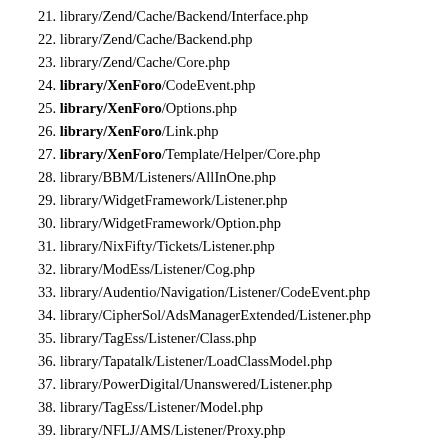21. library/Zend/Cache/Backend/Interface.php
22. library/Zend/Cache/Backend.php
23. library/Zend/Cache/Core.php
24. library/XenForo/CodeEvent.php
25. library/XenForo/Options.php
26. library/XenForo/Link.php
27. library/XenForo/Template/Helper/Core.php
28. library/BBM/Listeners/AllInOne.php
29. library/WidgetFramework/Listener.php
30. library/WidgetFramework/Option.php
31. library/NixFifty/Tickets/Listener.php
32. library/ModEss/Listener/Cog.php
33. library/Audentio/Navigation/Listener/CodeEvent.php
34. library/CipherSol/AdsManagerExtended/Listener.php
35. library/TagEss/Listener/Class.php
36. library/Tapatalk/Listener/LoadClassModel.php
37. library/PowerDigital/Unanswered/Listener.php
38. library/TagEss/Listener/Model.php
39. library/NFLJ/AMS/Listener/Proxy.php
40. library/XenForo/Model/Import.php
41. library/Waindigo/Listener/InitDependencies.php
42. library/Waindigo/Listener/InitDependencies/20150212.php
43. library/Waindigo/Listener/ControllerPreDispatch/20150212.ph
44. library/EnableDebugFromAdminHome/Listener.php
45. library/Zend/Db.php